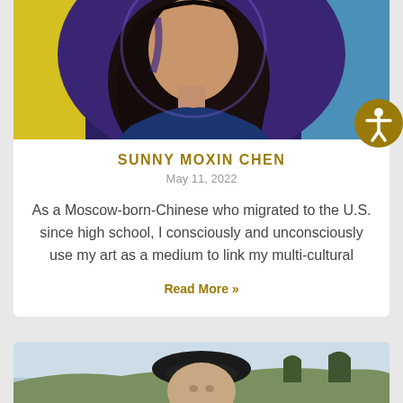[Figure (photo): Portrait photo of Sunny Moxin Chen, a woman with long dark hair wearing a dark blue outfit, with colorful background]
SUNNY MOXIN CHEN
May 11, 2022
As a Moscow-born-Chinese who migrated to the U.S. since high school, I consciously and unconsciously use my art as a medium to link my multi-cultural
Read More »
[Figure (photo): Portrait photo of a man wearing a black beret hat outdoors with a winter landscape in the background]